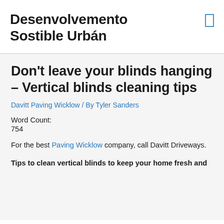Desenvolvemento Sostible Urbán
Don't leave your blinds hanging – Vertical blinds cleaning tips
Davitt Paving Wicklow / By Tyler Sanders
Word Count:
754
For the best Paving Wicklow company, call Davitt Driveways.
Tips to clean vertical blinds to keep your home fresh and